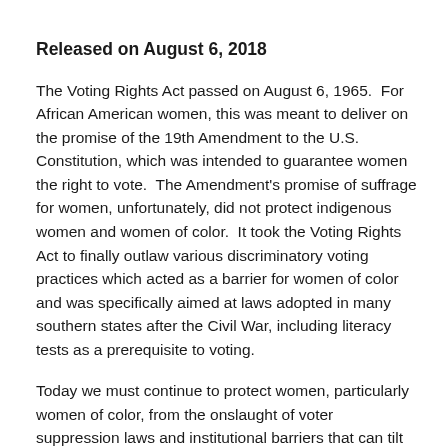Released on August 6, 2018
The Voting Rights Act passed on August 6, 1965.  For African American women, this was meant to deliver on the promise of the 19th Amendment to the U.S. Constitution, which was intended to guarantee women the right to vote.  The Amendment's promise of suffrage for women, unfortunately, did not protect indigenous women and women of color.  It took the Voting Rights Act to finally outlaw various discriminatory voting practices which acted as a barrier for women of color and was specifically aimed at laws adopted in many southern states after the Civil War, including literacy tests as a prerequisite to voting.
Today we must continue to protect women, particularly women of color, from the onslaught of voter suppression laws and institutional barriers that can tilt the balance of